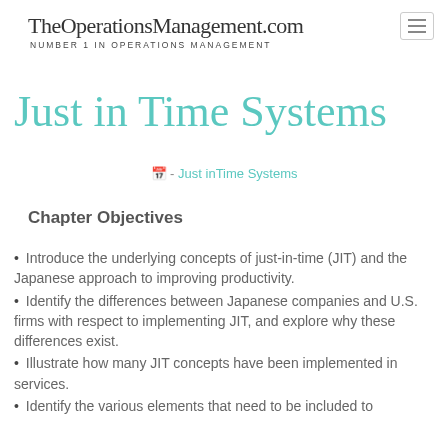TheOperationsManagement.com NUMBER 1 IN OPERATIONS MANAGEMENT
Just in Time Systems
🗓 - Just inTime Systems
Chapter Objectives
Introduce the underlying concepts of just-in-time (JIT) and the Japanese approach to improving productivity.
Identify the differences between Japanese companies and U.S. firms with respect to implementing JIT, and explore why these differences exist.
Illustrate how many JIT concepts have been implemented in services.
Identify the various elements that need to be included to